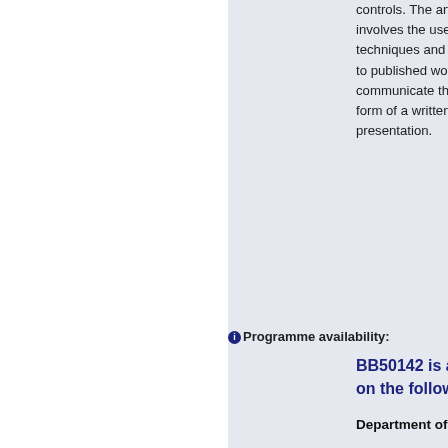controls. The analysis and interpretation stage involves the use of appropriate statistical techniques and the evaluation of results in relation to published work. The final phase is to communicate the outcome of the project in the form of a written report and a public poster presentation.
Programme availability:
BB50142 is a Designated Essential Unit on the following programmes:
Department of Biology & Biochemistry